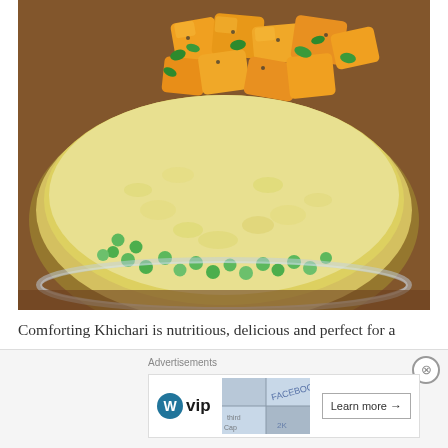[Figure (photo): A bowl of Khichari (Indian rice and lentil dish) topped with roasted yellow/orange squash cubes, green peas, and fresh parsley/cilantro garnish. The dish appears creamy and golden-yellow in color, served in a glass bowl on a wooden surface.]
Comforting Khichari is nutritious, delicious and perfect for a Meatless Monday meal. It's also a great pantry meal and easily adaptable. Like most of the world, my husband and I are sheltering inside until the Covid 19 pandemic is defeated.
[Figure (other): Advertisement bar showing WordPress VIP logo and a map background with Facebook branding, with a 'Learn more' button.]